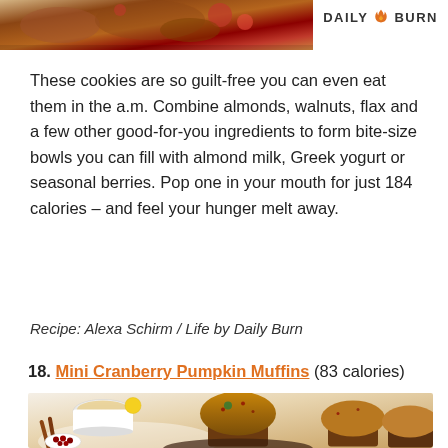[Figure (photo): Top portion of food photo showing granola/nut cookies with berries, partially cropped, with Daily Burn logo to the right]
These cookies are so guilt-free you can even eat them in the a.m. Combine almonds, walnuts, flax and a few other good-for-you ingredients to form bite-size bowls you can fill with almond milk, Greek yogurt or seasonal berries. Pop one in your mouth for just 184 calories – and feel your hunger melt away.
Recipe: Alexa Schirm / Life by Daily Burn
18. Mini Cranberry Pumpkin Muffins (83 calories)
[Figure (photo): Photo of mini cranberry pumpkin muffins in brown cupcake liners, arranged on a dark plate, with a cup of tea, lemon slice, cinnamon sticks, and a small bowl of dried cranberries in the background]